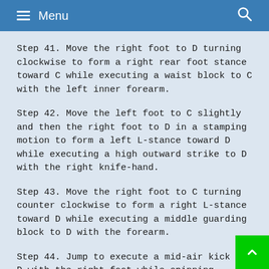Menu
Step 41. Move the right foot to D turning clockwise to form a right rear foot stance toward C while executing a waist block to C with the left inner forearm.
Step 42. Move the left foot to C slightly and then the right foot to D in a stamping motion to form a left L-stance toward D while executing a high outward strike to D with the right knife-hand.
Step 43. Move the right foot to C turning counter clockwise to form a right L-stance toward D while executing a middle guarding block to D with the forearm.
Step 44. Jump to execute a mid-air kick to D with the right foot while spinning clockwise and then land to D to form L-stance toward D while executing a middle guarding block to D with a knife-hand.